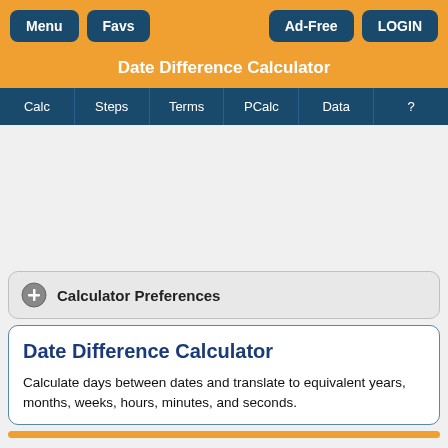Menu | Favs | Ad-Free | LOGIN
Date Difference Calculator
Calc | Steps | Terms | PCalc | Data | ?
Calculator Preferences
Date Difference Calculator
Calculate days between dates and translate to equivalent years, months, weeks, hours, minutes, and seconds.